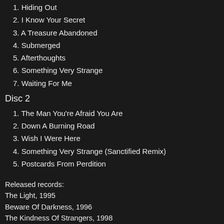1. Hiding Out
2. I Know Your Secret
3. A Treasure Abandoned
4. Submerged
5. Afterthoughts
6. Something Very Strange
7. Waiting For Me
Disc 2
1. The Man You're Afraid You Are
2. Down A Burning Road
3. Wish I Were Here
4. Something Very Strange (Sanctified Remix)
5. Postcards From Perdition
Released records:
The Light, 1995
Beware Of Darkness, 1996
The Kindness Of Strangers, 1998